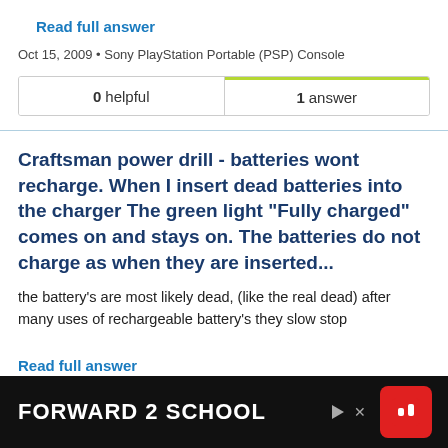Read full answer
Oct 15, 2009 • Sony PlayStation Portable (PSP) Console
| 0 helpful | 1 answer |
Craftsman power drill - batteries wont recharge. When I insert dead batteries into the charger The green light "Fully charged" comes on and stays on. The batteries do not charge as when they are inserted...
the battery's are most likely dead, (like the real dead) after many uses of rechargeable battery's they slow stop
Read full answer
Sep 27
[Figure (other): Advertisement banner: FORWARD 2 SCHOOL with red icon]